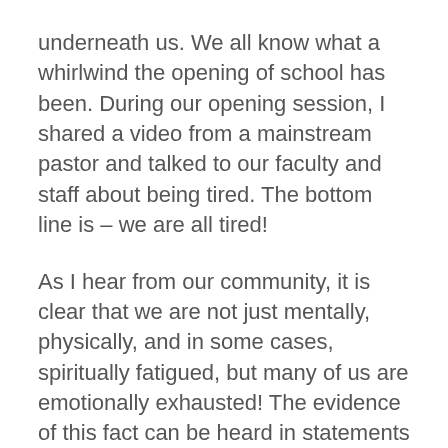underneath us. We all know what a whirlwind the opening of school has been. During our opening session, I shared a video from a mainstream pastor and talked to our faculty and staff about being tired. The bottom line is – we are all tired!
As I hear from our community, it is clear that we are not just mentally, physically, and in some cases, spiritually fatigued, but many of us are emotionally exhausted! The evidence of this fact can be heard in statements like, “I am tired of masks,” “I am tired of people not wearing masks,” “I am tired of social distancing,” “I am tired of quarantine,” “I am tired of our country being divided,” “I am tired of social injustice,” “I am tired . . .” – you can fill in the blank. These are exhausting times we are living in, but guess what? Even Jesus got tired!